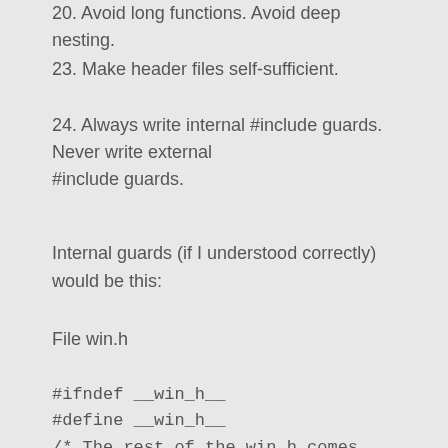20. Avoid long functions. Avoid deep nesting.
23. Make header files self-sufficient.
24. Always write internal #include guards. Never write external #include guards.
Internal guards (if I understood correctly) would be this:
File win.h
#ifndef __win_h__
#define __win_h__
/* The rest of the win.h comes here */
#endif
Yes, but do not use leading underscores for your own macro identifiers: I liked the H_HEADERNAME_H convention